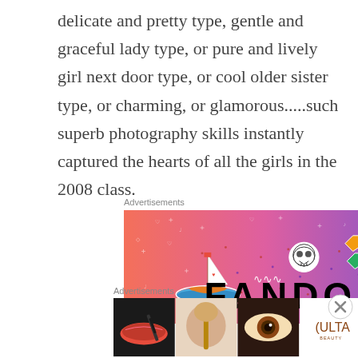delicate and pretty type, gentle and graceful lady type, or pure and lively girl next door type, or cool older sister type, or charming, or glamorous.....such superb photography skills instantly captured the hearts of all the girls in the 2008 class.
Advertisements
[Figure (illustration): Fandom advertisement banner with colorful stickers (sailboat, skull, gems, earth) on a pink-to-purple gradient background with the word FANDOM in large black letters]
Advertisements
[Figure (illustration): Ulta Beauty advertisement showing makeup close-ups (lips, brush, eye, Ulta logo, eyes) with SHOP NOW button]